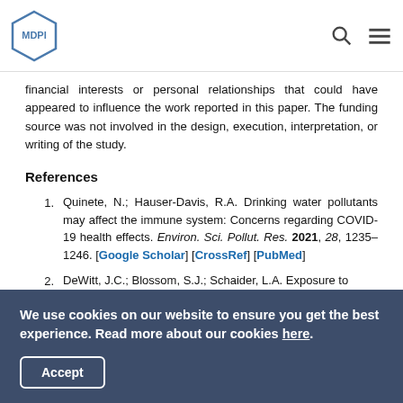MDPI
financial interests or personal relationships that could have appeared to influence the work reported in this paper. The funding source was not involved in the design, execution, interpretation, or writing of the study.
References
1. Quinete, N.; Hauser-Davis, R.A. Drinking water pollutants may affect the immune system: Concerns regarding COVID-19 health effects. Environ. Sci. Pollut. Res. 2021, 28, 1235–1246. [Google Scholar] [CrossRef] [PubMed]
2. DeWitt, J.C.; Blossom, S.J.; Schaider, L.A. Exposure to ...
We use cookies on our website to ensure you get the best experience. Read more about our cookies here.